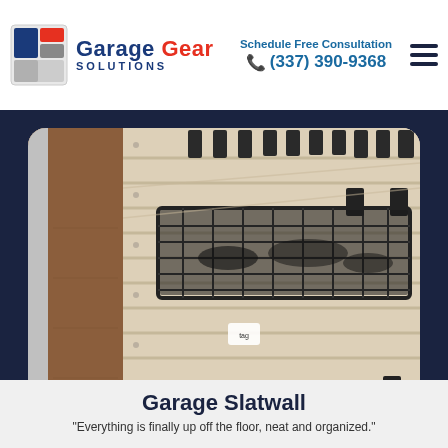Garage Gear Solutions — Schedule Free Consultation (337) 390-9368
[Figure (photo): Close-up photo of a slatwall panel system with black wire baskets and hooks mounted on a beige/tan slatwall panel in a garage setting]
Garage Slatwall
"Everything is finally up off the floor, neat and organized."